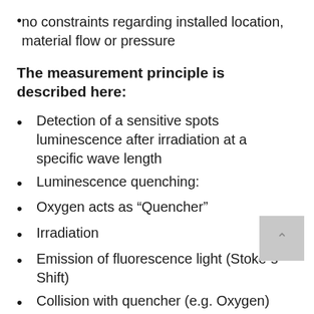no constraints regarding installed location, material flow or pressure
The measurement principle is described here:
Detection of a sensitive spots luminescence after irradiation at a specific wave length
Luminescence quenching:
Oxygen acts as “Quencher”
Irradiation
Emission of fluorescence light (Stoke´s Shift)
Collision with quencher (e.g. Oxygen)
Oxygen absorbs the energie of